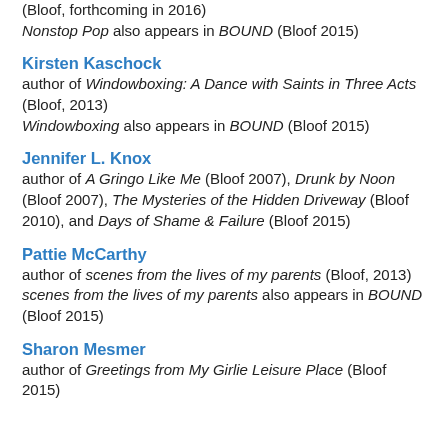(Bloof, forthcoming in 2016)
Nonstop Pop also appears in BOUND (Bloof 2015)
Kirsten Kaschock
author of Windowboxing: A Dance with Saints in Three Acts (Bloof, 2013)
Windowboxing also appears in BOUND (Bloof 2015)
Jennifer L. Knox
author of A Gringo Like Me (Bloof 2007), Drunk by Noon (Bloof 2007), The Mysteries of the Hidden Driveway (Bloof 2010), and Days of Shame & Failure (Bloof 2015)
Pattie McCarthy
author of scenes from the lives of my parents (Bloof, 2013)
scenes from the lives of my parents also appears in BOUND (Bloof 2015)
Sharon Mesmer
author of Greetings from My Girlie Leisure Place (Bloof 2015)